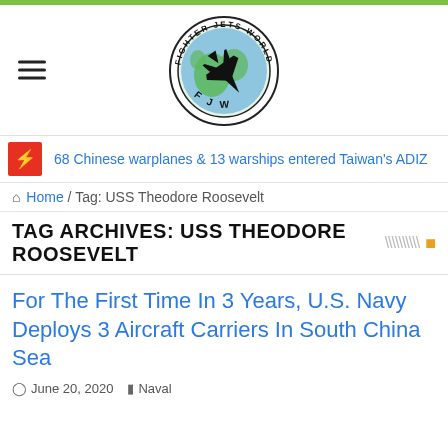[Figure (logo): Fighter Jets World circular logo with a fighter jet silhouette over a globe, text 'FIGHTER JETS WORLD' and 'FJW' around the border]
68 Chinese warplanes & 13 warships entered Taiwan's ADIZ
Home / Tag: USS Theodore Roosevelt
TAG ARCHIVES: USS THEODORE ROOSEVELT
For The First Time In 3 Years, U.S. Navy Deploys 3 Aircraft Carriers In South China Sea
June 20, 2020  Naval